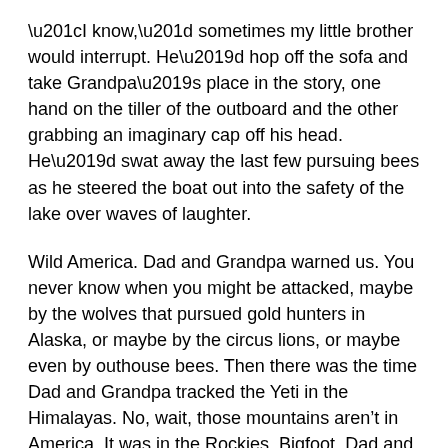“I know,” sometimes my little brother would interrupt. He’d hop off the sofa and take Grandpa’s place in the story, one hand on the tiller of the outboard and the other grabbing an imaginary cap off his head. He’d swat away the last few pursuing bees as he steered the boat out into the safety of the lake over waves of laughter.
Wild America. Dad and Grandpa warned us. You never know when you might be attacked, maybe by the wolves that pursued gold hunters in Alaska, or maybe by the circus lions, or maybe even by outhouse bees. Then there was the time Dad and Grandpa tracked the Yeti in the Himalayas. No, wait, those mountains aren’t in America. It was in the Rockies. Bigfoot. Dad and Grandpa almost got him….
My mother confirmed the bees in the Spring Lake outhouse story. She personally observed three bee